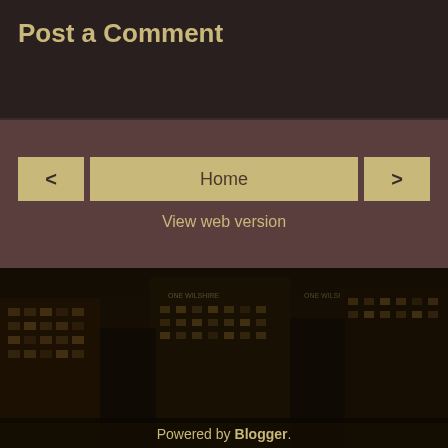Post a Comment
Home
View web version
[Figure (photo): Nighttime city skyline with tall office buildings lit from within, dark atmospheric photo, buildings labeled ONE WILSHIRE visible]
Powered by Blogger.